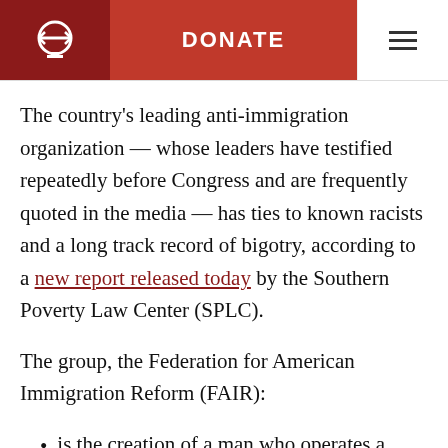DONATE
The country's leading anti-immigration organization — whose leaders have testified repeatedly before Congress and are frequently quoted in the media — has ties to known racists and a long track record of bigotry, according to a new report released today by the Southern Poverty Law Center (SPLC).
The group, the Federation for American Immigration Reform (FAIR):
is the creation of a man who operates a racist publishing